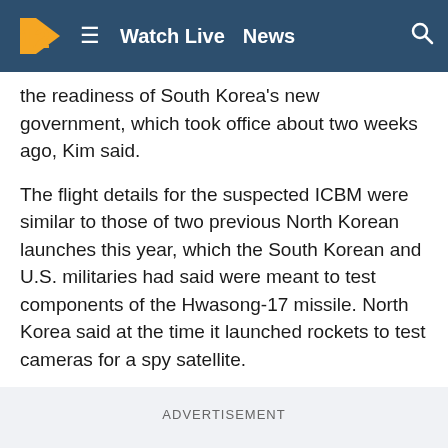12 ≡ Watch Live News 🔍
the readiness of South Korea's new government, which took office about two weeks ago, Kim said.
The flight details for the suspected ICBM were similar to those of two previous North Korean launches this year, which the South Korean and U.S. militaries had said were meant to test components of the Hwasong-17 missile. North Korea said at the time it launched rockets to test cameras for a spy satellite.
ADVERTISEMENT
After the two launches, South Korea's military in March